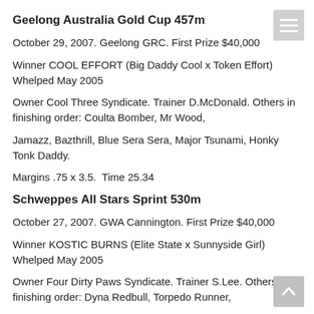Geelong Australia Gold Cup 457m
October 29, 2007. Geelong GRC. First Prize $40,000
Winner COOL EFFORT (Big Daddy Cool x Token Effort) Whelped May 2005
Owner Cool Three Syndicate. Trainer D.McDonald. Others in finishing order: Coulta Bomber, Mr Wood,
Jamazz, Bazthrill, Blue Sera Sera, Major Tsunami, Honky Tonk Daddy.
Margins .75 x 3.5.  Time 25.34
Schweppes All Stars Sprint 530m
October 27, 2007. GWA Cannington. First Prize $40,000
Winner KOSTIC BURNS (Elite State x Sunnyside Girl) Whelped May 2005
Owner Four Dirty Paws Syndicate. Trainer S.Lee. Others in finishing order: Dyna Redbull, Torpedo Runner,